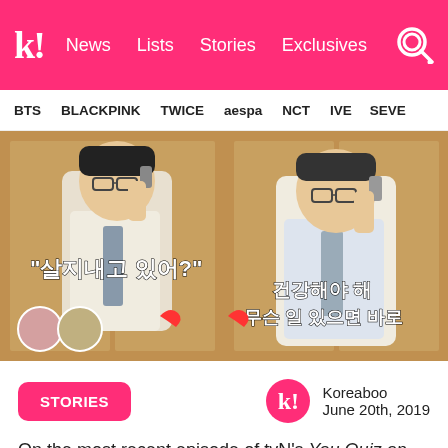k! News Lists Stories Exclusives
BTS BLACKPINK TWICE aespa NCT IVE SEVE
[Figure (photo): Two side-by-side video stills of a man in glasses and white shirt talking on a phone, with Korean subtitle text overlaid. Left panel shows Korean text '살지내고 있어?' with caller avatars. Right panel shows Korean text '건강해야 해 무슨 일 있으면 바로'.]
STORIES
Koreaboo
June 20th, 2019
On the most recent episode of tvN's You Quiz on the Block, Kim Na Young and her son Shin